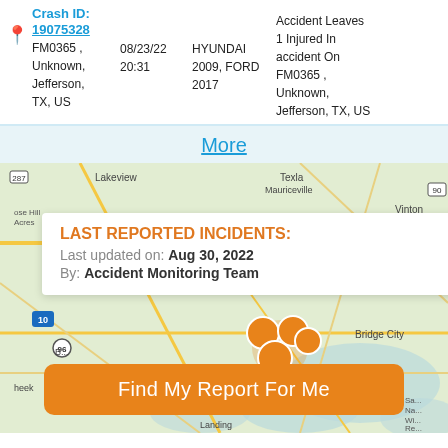| Crash ID | Date/Time | Vehicles | Description |
| --- | --- | --- | --- |
| Crash ID: 19075328
FM0365 , Unknown, Jefferson, TX, US | 08/23/22 20:31 | HYUNDAI 2009, FORD 2017 | Accident Leaves 1 Injured In accident On FM0365 , Unknown, Jefferson, TX, US |
More
[Figure (map): Map showing southeast Texas area including Lakeview, Texla, Mauriceville, Vinton, Bridge City, Nederland, and surrounding areas with orange crash incident cluster markers near Nederland/Port Arthur area]
LAST REPORTED INCIDENTS:
Last updated on: Aug 30, 2022
By: Accident Monitoring Team
Find My Report For Me